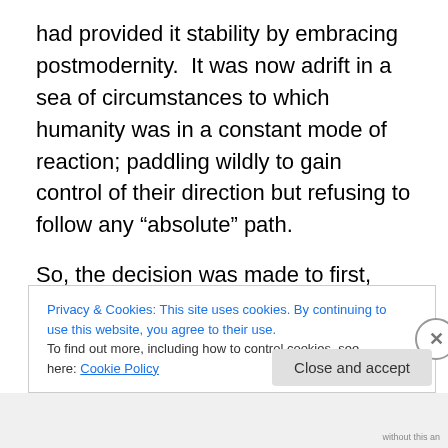had provided it stability by embracing postmodernity.  It was now adrift in a sea of circumstances to which humanity was in a constant mode of reaction; paddling wildly to gain control of their direction but refusing to follow any “absolute” path.
So, the decision was made to first, reject absolute, concrete truth.  Second, to distrust anyone who claimed to come to a truth assertion based on observation and experience.  What was left?  The individual.  The individual then became the arbiter of what was true and what was
Privacy & Cookies: This site uses cookies. By continuing to use this website, you agree to their use.
To find out more, including how to control cookies, see here: Cookie Policy